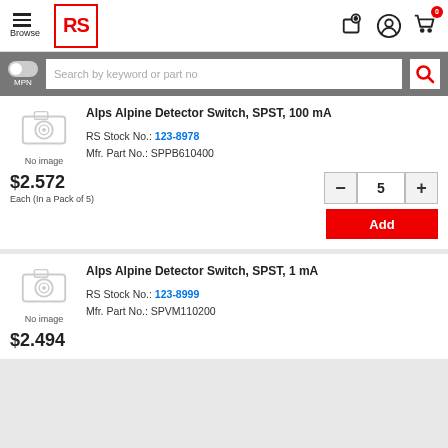RS Components - Browse
Search by keyword or part no
Alps Alpine Detector Switch, SPST, 100 mA
RS Stock No.: 123-8978
Mfr. Part No.: SPPB610400
$2.572
Each (In a Pack of 5)
Alps Alpine Detector Switch, SPST, 1 mA
RS Stock No.: 123-8999
Mfr. Part No.: SPVM110200
$2.494